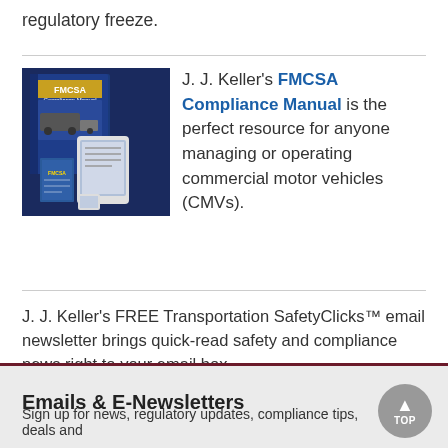regulatory freeze.
[Figure (illustration): FMCSA Compliance Manual book and digital device cover image]
J. J. Keller's FMCSA Compliance Manual is the perfect resource for anyone managing or operating commercial motor vehicles (CMVs).
J. J. Keller's FREE Transportation SafetyClicks™ email newsletter brings quick-read safety and compliance news right to your email box.
Sign up to receive Transportation SafetyClicks™.
Emails & E-Newsletters
Sign up for news, regulatory updates, compliance tips, deals and